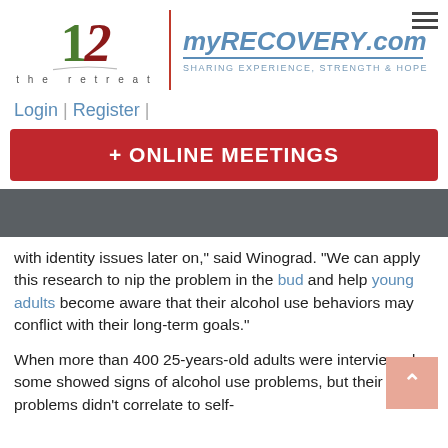[Figure (logo): The Retreat logo with '12' numeral and swoosh, alongside myRECOVERY.com branding with tagline 'SHARING EXPERIENCE, STRENGTH & HOPE' and hamburger menu icon]
Login | Register |
+ ONLINE MEETINGS
with identity issues later on," said Winograd. "We can apply this research to nip the problem in the bud and help young adults become aware that their alcohol use behaviors may conflict with their long-term goals."
When more than 400 25-years-old adults were interviewed, some showed signs of alcohol use problems, but their problems didn't correlate to self-